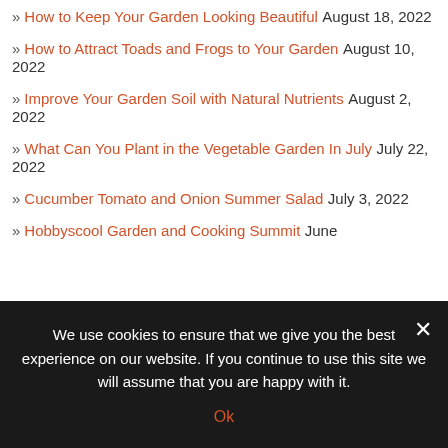» How to Keep Your Garden Looking Beautiful August 18, 2022
» How to Attract Toads and Frogs to Your Garden August 10, 2022
» Improve Your Garden Soil with Natural Nutrients August 2, 2022
» What Can You Plant in the Vegetable Garden In July July 22, 2022
» Cucumber Tomato and Onion Summer Salad July 3, 2022
» Hobbyscool Garden and Cooking Summit June
We use cookies to ensure that we give you the best experience on our website. If you continue to use this site we will assume that you are happy with it.
Ok